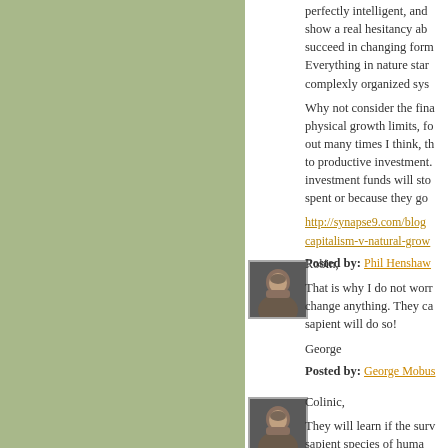perfectly intelligent, and show a real hesitancy ab... succeed in changing form... Everything in nature star... complexly organized sys...
Why not consider the fina... physical growth limits, fo... out many times I think, th... to productive investment... investment funds will sto... spent or because they go...
http://synapse9.com/blog... capitalism-v-natural-grow...
Posted by: Phil Henshaw
[Figure (photo): Avatar photo of a bearded man]
Robin,
That is why I do not worr... change anything. They c... sapient will do so!
George
Posted by: George Mobus
[Figure (photo): Avatar photo of a bearded man]
Colinic,
They will learn if the surv... sapient species of huma...